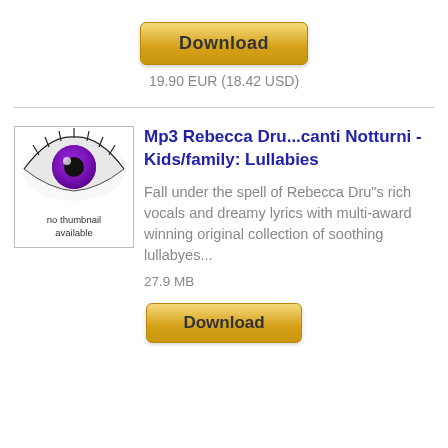[Figure (other): Download button - golden/yellow rounded rectangle button with text 'Download']
19.90 EUR (18.42 USD)
[Figure (photo): Album thumbnail showing a purple eye with no thumbnail available text overlay]
Mp3 Rebecca Dru...canti Notturni - Kids/family: Lullabies
Fall under the spell of Rebecca Dru"s rich vocals and dreamy lyrics with multi-award winning original collection of soothing lullabyes...
27.9 MB
[Figure (other): Download button at bottom - golden/yellow rounded rectangle button (partially visible)]